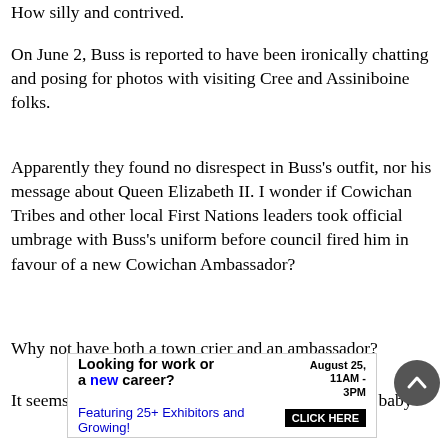How silly and contrived.
On June 2, Buss is reported to have been ironically chatting and posing for photos with visiting Cree and Assiniboine folks.
Apparently they found no disrespect in Buss's outfit, nor his message about Queen Elizabeth II. I wonder if Cowichan Tribes and other local First Nations leaders took official umbrage with Buss's uniform before council fired him in favour of a new Cowichan Ambassador?
Why not have both a town crier and an ambassador?
It seems our well-meaning council indeed threw the baby
[Figure (infographic): Advertisement banner: 'Looking for work or a new career? August 25, 11AM-3PM Featuring 25+ Exhibitors and Growing! CLICK HERE']